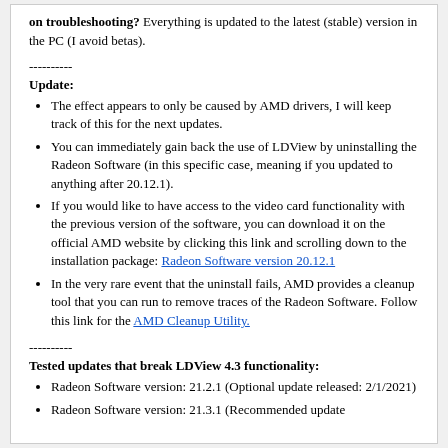on troubleshooting? Everything is updated to the latest (stable) version in the PC (I avoid betas).
----------
Update:
The effect appears to only be caused by AMD drivers, I will keep track of this for the next updates.
You can immediately gain back the use of LDView by uninstalling the Radeon Software (in this specific case, meaning if you updated to anything after 20.12.1).
If you would like to have access to the video card functionality with the previous version of the software, you can download it on the official AMD website by clicking this link and scrolling down to the installation package: Radeon Software version 20.12.1
In the very rare event that the uninstall fails, AMD provides a cleanup tool that you can run to remove traces of the Radeon Software. Follow this link for the AMD Cleanup Utility.
----------
Tested updates that break LDView 4.3 functionality:
Radeon Software version: 21.2.1 (Optional update released: 2/1/2021)
Radeon Software version: 21.3.1 (Recommended update